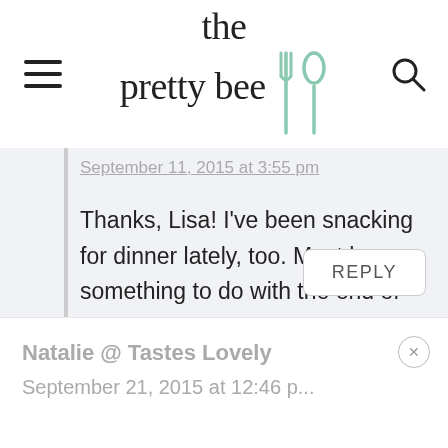[Figure (logo): The Pretty Bee website header with logo text and fork/spoon utensil icon, hamburger menu on left, search icon on right]
September 11, 2015 at 3:55 pm
Thanks, Lisa! I've been snacking for dinner lately, too. Must have something to do with the end of summer!
REPLY
Natalie @ Tastes Lovely
September 21, 2015 at 12:46 pm